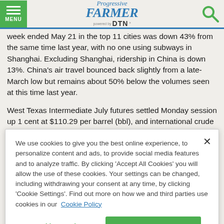Progressive Farmer powered by DTN
week ended May 21 in the top 11 cities was down 43% from the same time last year, with no one using subways in Shanghai. Excluding Shanghai, ridership in China is down 13%. China's air travel bounced back slightly from a late-March low but remains about 50% below the volumes seen at this time last year.
West Texas Intermediate July futures settled Monday session up 1 cent at $110.29 per barrel (bbl), and international crude benchmark Brent contract for July delivery advanced $0.87 to
We use cookies to give you the best online experience, to personalize content and ads, to provide social media features and to analyze traffic. By clicking 'Accept All Cookies' you will allow the use of these cookies. Your settings can be changed, including withdrawing your consent at any time, by clicking 'Cookie Settings'. Find out more on how we and third parties use cookies in our Cookie Policy
Cookies Settings | Accept All Cookies